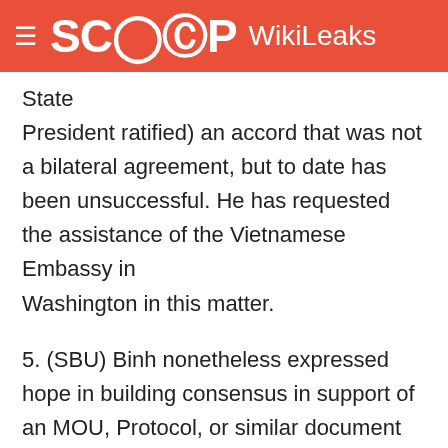SCOOP WikiLeaks
State President ratified) an accord that was not a bilateral agreement, but to date has been unsuccessful. He has requested the assistance of the Vietnamese Embassy in Washington in this matter.
5. (SBU) Binh nonetheless expressed hope in building consensus in support of an MOU, Protocol, or similar document within the interagency working group on international adoptions. This group will include members of all relevant Ministries, as well as representatives of the offices of the Prime Minister and State President. It is